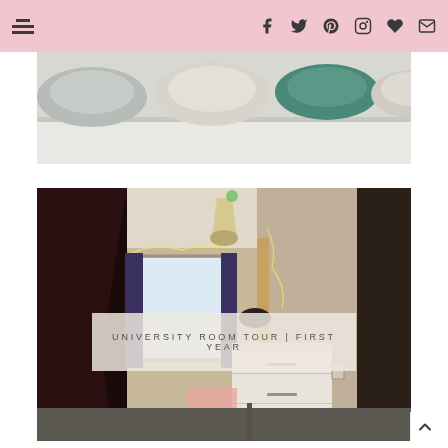Navigation menu and social icons (Facebook, Twitter, Pinterest, Instagram, heart/favourites, email)
[Figure (photo): Close-up photo of coloured bowls or plates on a shelf, including grey, beige, teal/green and white varieties against a white background]
[Figure (photo): Interior photo of a university dormitory bedroom showing a pendant light, fairy lights around a window with dark curtains, a desk with white drawers, and various personal belongings. A dark clothing item is visible in the foreground.]
UNIVERSITY ROOM TOUR | FIRST YEAR